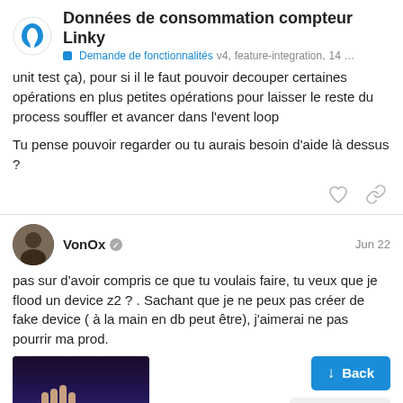Données de consommation compteur Linky — Demande de fonctionnalités v4, feature-integration, 14 ...
unit test ça), pour si il le faut pouvoir decouper certaines opérations en plus petites opérations pour laisser le reste du process souffler et avancer dans l'event loop
Tu pense pouvoir regarder ou tu aurais besoin d'aide là dessus ?
VonOx  Jun 22
pas sur d'avoir compris ce que tu voulais faire, tu veux que je flood un device z2 ? . Sachant que je ne peux pas créer de fake device ( à la main en db peut être), j'aimerai ne pas pourrir ma prod.
[Figure (screenshot): Screenshot thumbnail showing a hand with purple/blue background]
77 / 126